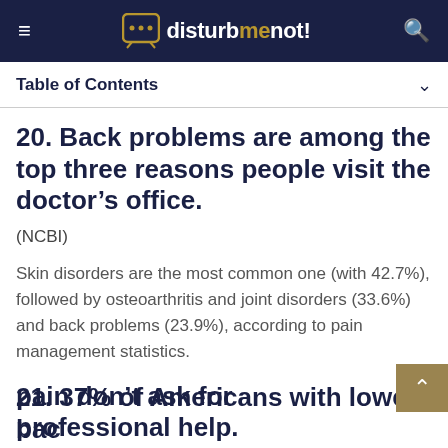disturbmenot!
Table of Contents
20. Back problems are among the top three reasons people visit the doctor’s office.
(NCBI)
Skin disorders are the most common one (with 42.7%), followed by osteoarthritis and joint disorders (33.6%) and back problems (23.9%), according to pain management statistics.
21. 37% of Americans with lower back pain don’t ask for professional help.